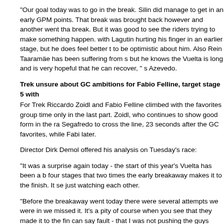"Our goal today was to go in the break. Silin did manage to get in an early GPM points. That break was brought back however and another went tha break. But it was good to see the riders trying to make something happen. with Lagutin hurting his finger in an earlier stage, but he does feel better t to be optimistic about him. Also Rein Taaramäe has been suffering from s but he knows the Vuelta is long and is very hopeful that he can recover, " s Azevedo.
Trek unsure about GC ambitions for Fabio Felline, target stage 5 with
For Trek Riccardo Zoidl and Fabio Felline climbed with the favorites group time only in the last part. Zoidl, who continues to show good form in the ra Segafredo to cross the line, 23 seconds after the GC favorites, while Fabi later.
Director Dirk Demol offered his analysis on Tuesday's race:
"It was a surprise again today - the start of this year's Vuelta has been a b four stages that two times the early breakaway makes it to the finish. It se just watching each other.
"Before the breakaway went today there were several attempts we were in we missed it. It's a pity of course when you see that they made it to the fin can say fault - that I was not pushing the guys enough to be in the breaka this for the upcoming days and really try and be present."
"It's not like we lost 10 or 15mins today, but we will have to see as Fabio a favorites. At this point we don't give up our ambitions for the GC. Once we we can make a decision as it will be much clearer.